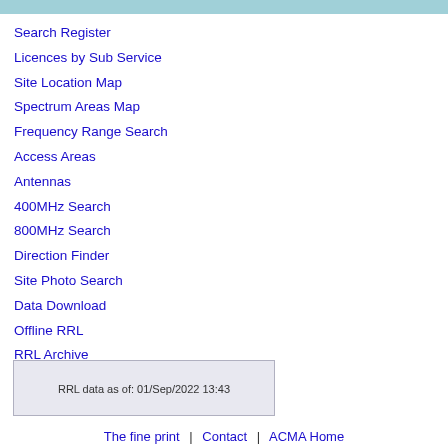Search Register
Licences by Sub Service
Site Location Map
Spectrum Areas Map
Frequency Range Search
Access Areas
Antennas
400MHz Search
800MHz Search
Direction Finder
Site Photo Search
Data Download
Offline RRL
RRL Archive
Class Licences
Help
RRL data as of: 01/Sep/2022 13:43
The fine print | Contact | ACMA Home